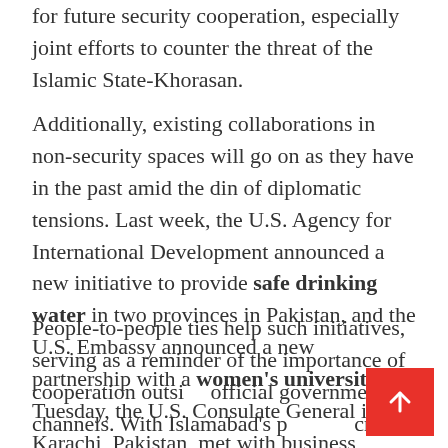for future security cooperation, especially joint efforts to counter the threat of the Islamic State-Khorasan.
Additionally, existing collaborations in non-security spaces will go on as they have in the past amid the din of diplomatic tensions. Last week, the U.S. Agency for International Development announced a new initiative to provide safe drinking water in two provinces in Pakistan, and the U.S. Embassy announced a new partnership with a women's university. On Tuesday, the U.S. Consulate General in Karachi, Pakistan, met with business leaders to discuss U.S. commercial cooperation.
People-to-people ties help such initiatives, serving as a reminder of the importance of cooperation outside official government channels. With Islamabad's political crisis injecting fresh toxicity into the U.S.-Pakistan